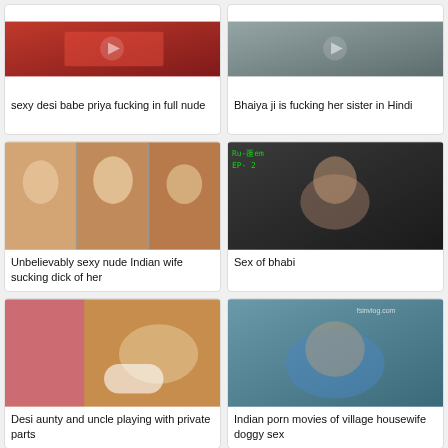[Figure (photo): Thumbnail image for video card 1 top left]
sexy desi babe priya fucking in full nude
[Figure (photo): Thumbnail image for video card 2 top right]
Bhaiya ji is fucking her sister in Hindi
[Figure (photo): Collage of nude Indian woman images]
Unbelievably sexy nude Indian wife sucking dick of her
[Figure (photo): Video still of woman in dark setting]
Sex of bhabi
[Figure (photo): Woman in colorful outfit bending over]
Desi aunty and uncle playing with private parts
[Figure (photo): Video still of woman in blue attire]
Indian porn movies of village housewife doggy sex
[Figure (photo): Partial thumbnail bottom left]
[Figure (photo): Partial thumbnail bottom right]